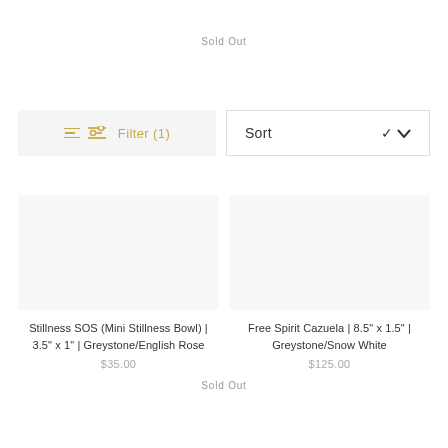Sold Out
[Figure (screenshot): Filter (1) button with gold filter icon and Sort dropdown with chevron]
[Figure (photo): Product image placeholder for Stillness SOS (Mini Stillness Bowl)]
Stillness SOS (Mini Stillness Bowl) | 3.5" x 1" | Greystone/English Rose
$35.00
[Figure (photo): Product image placeholder for Free Spirit Cazuela]
Free Spirit Cazuela | 8.5" x 1.5" | Greystone/Snow White
$125.00
Sold Out